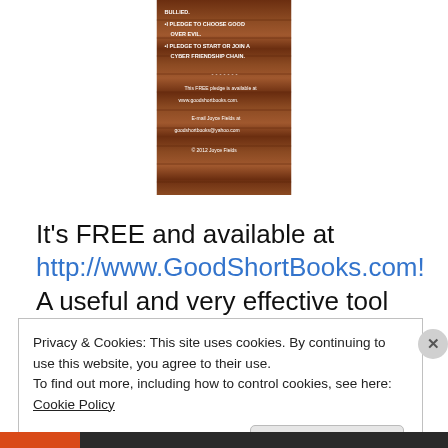[Figure (illustration): Book cover with wood-grain brown background showing pledge text lines about cyberbullying and cyber friendship chain, with website and email info.]
It's FREE and available at http://www.GoodShortBooks.com!  A useful and very effective tool against bullying.
Privacy & Cookies: This site uses cookies. By continuing to use this website, you agree to their use.
To find out more, including how to control cookies, see here: Cookie Policy